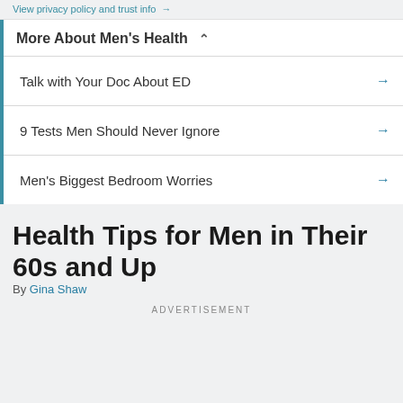View privacy policy and trust info →
More About Men's Health ∧
Talk with Your Doc About ED →
9 Tests Men Should Never Ignore →
Men's Biggest Bedroom Worries →
Health Tips for Men in Their 60s and Up
By Gina Shaw
ADVERTISEMENT